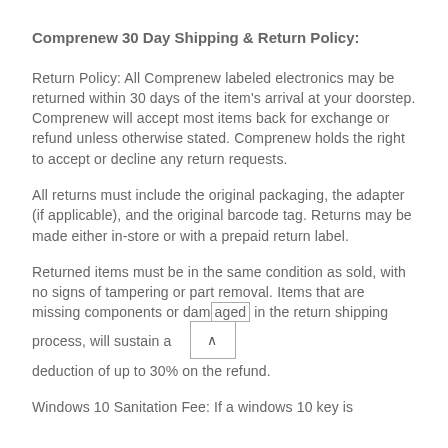Comprenew 30 Day Shipping & Return Policy:
Return Policy: All Comprenew labeled electronics may be returned within 30 days of the item's arrival at your doorstep. Comprenew will accept most items back for exchange or refund unless otherwise stated. Comprenew holds the right to accept or decline any return requests.
All returns must include the original packaging, the adapter (if applicable), and the original barcode tag. Returns may be made either in-store or with a prepaid return label.
Returned items must be in the same condition as sold, with no signs of tampering or part removal. Items that are missing components or damaged in the return shipping process, will sustain a deduction of up to 30% on the refund.
Windows 10 Sanitation Fee: If a windows 10 key is